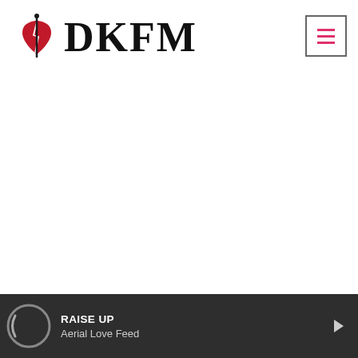[Figure (logo): DKFM logo with broken heart icon in red and black serif lettering]
[Figure (other): Hamburger menu button with three pink/red horizontal lines inside a square border]
[Figure (other): Dark bottom player bar with spinning album art circle, track info, and next button]
RAISE UP
Aerial Love Feed